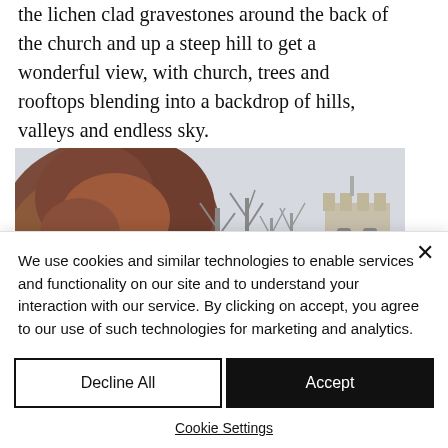the lichen clad gravestones around the back of the church and up a steep hill to get a wonderful view, with church, trees and rooftops blending into a backdrop of hills, valleys and endless sky.
[Figure (photo): Outdoor photo showing autumn trees with reddish-brown foliage on the left, bare grey winter trees in the middle, and a stone church tower visible on the right, against an overcast sky.]
We use cookies and similar technologies to enable services and functionality on our site and to understand your interaction with our service. By clicking on accept, you agree to our use of such technologies for marketing and analytics.
Decline All
Accept
Cookie Settings